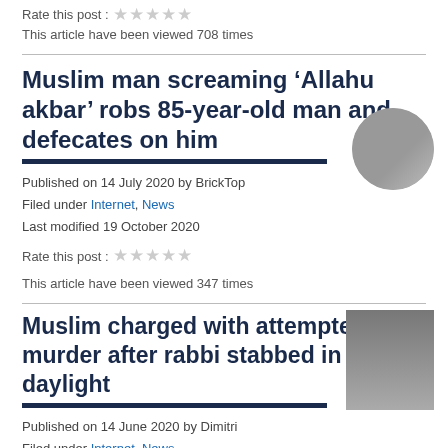Rate this post : ☆☆☆☆☆
This article have been viewed 708 times
Muslim man screaming ‘Allahu akbar’ robs 85-year-old man and defecates on him
Published on 14 July 2020 by BrickTop
Filed under Internet, News
Last modified 19 October 2020
Rate this post : ☆☆☆☆☆
This article have been viewed 347 times
Muslim charged with attempted murder after rabbi stabbed in broad daylight
Published on 14 June 2020 by Dimitri
Filed under Internet, News
Last modified 19 October 2020
Rate this post : ★★★★☆
This article have been viewed 366 times